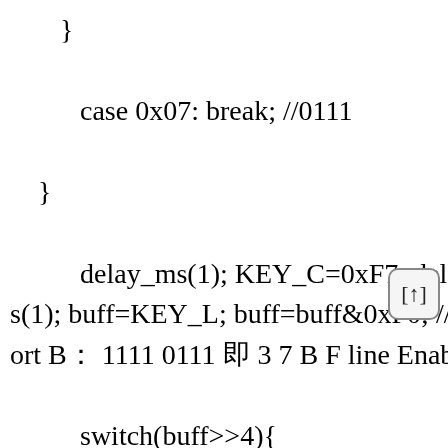}
case 0x07: break; //0111
}
delay_ms(1); KEY_C=0xF7; delay_ms(1); buff=KEY_L; buff=buff&0xF0; //Port B： 1111 0111 即 3 7 B F line Enable
switch(buff>>4){
case 0x0e: Putch('3'); user_number[u
n++]='3'; delay_ms(200); break; // 1110